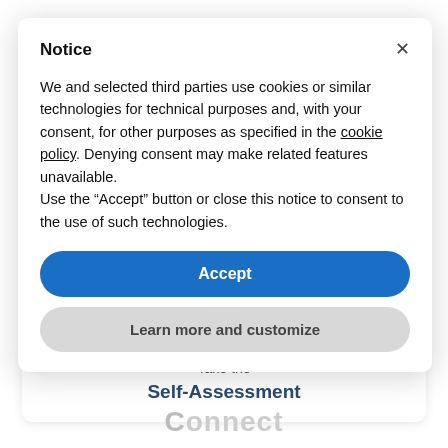Notice
We and selected third parties use cookies or similar technologies for technical purposes and, with your consent, for other purposes as specified in the cookie policy. Denying consent may make related features unavailable.
Use the “Accept” button or close this notice to consent to the use of such technologies.
Accept
Learn more and customize
Take the Self-Assessment
Connect